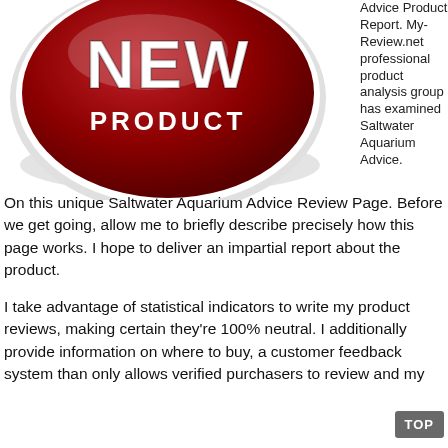[Figure (illustration): Red glossy 'NEW PRODUCT' button/badge with white text on a circular red background with white border and shadow]
Advice Product Report. My-Review.net professional product analysis group has examined Saltwater Aquarium Advice.
On this unique Saltwater Aquarium Advice Review Page. Before we get going, allow me to briefly describe precisely how this page works. I hope to deliver an impartial report about the product.
I take advantage of statistical indicators to write my product reviews, making certain they're 100% neutral. I additionally provide information on where to buy, a customer feedback system than only allows verified purchasers to review and my